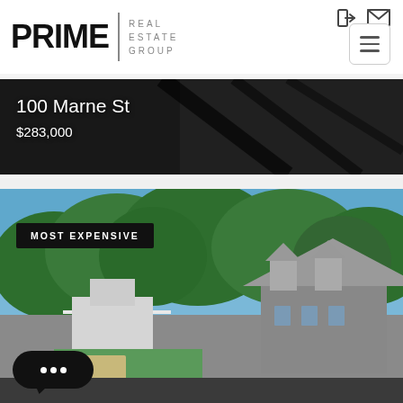[Figure (logo): PRIME Real Estate Group logo with bold PRIME text, vertical divider, and stacked REAL ESTATE GROUP text]
[Figure (photo): Aerial/overhead dark photo of a property at 100 Marne St showing rooftop/driveway]
100 Marne St
$283,000
[Figure (photo): Exterior photo of a large residential home with green trees and lawn, labeled MOST EXPENSIVE]
MOST EXPENSIVE